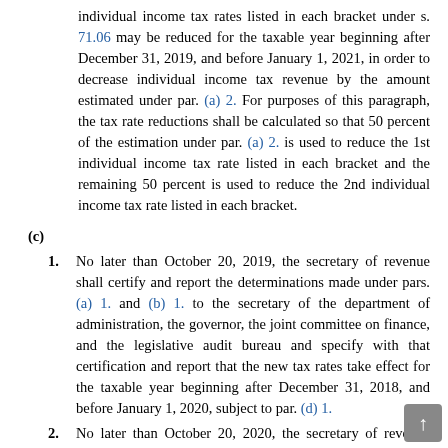individual income tax rates listed in each bracket under s. 71.06 may be reduced for the taxable year beginning after December 31, 2019, and before January 1, 2021, in order to decrease individual income tax revenue by the amount estimated under par. (a) 2. For purposes of this paragraph, the tax rate reductions shall be calculated so that 50 percent of the estimation under par. (a) 2. is used to reduce the 1st individual income tax rate listed in each bracket and the remaining 50 percent is used to reduce the 2nd individual income tax rate listed in each bracket.
(c)
1. No later than October 20, 2019, the secretary of revenue shall certify and report the determinations made under pars. (a) 1. and (b) 1. to the secretary of the department of administration, the governor, the joint committee on finance, and the legislative audit bureau and specify with that certification and report that the new tax rates take effect for the taxable year beginning after December 31, 2018, and before January 1, 2020, subject to par. (d) 1.
2. No later than October 20, 2020, the secretary of revenue shall certify and report the determinations made under pars. (a) 2. and (b) 2. to the secretary of the department of administration, the governor, the joint committee on finance, and the legislative audit bureau and specify with that certification and report that the new tax rates take effect for the taxable year beginning after December...